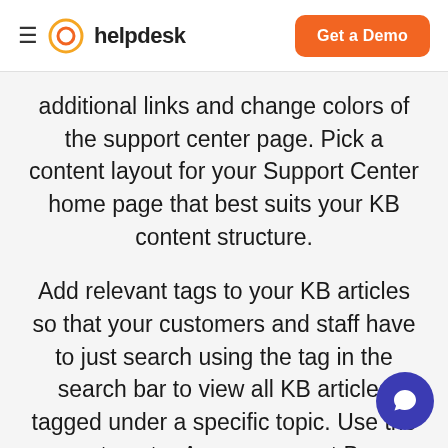helpdesk | Get a Demo
additional links and change colors of the support center page. Pick a content layout for your Support Center home page that best suits your KB content structure.
Add relevant tags to your KB articles so that your customers and staff have to just search using the tag in the search bar to view all KB articles tagged under a specific topic. Use the support center Announcement Banner to display all your crucial announcements Add SEO friendly URLs to your knowledge base and